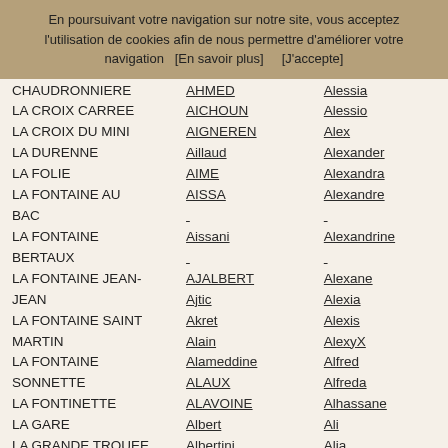En poursuivant votre navigation sur notre site, vous acceptez l'utilisation de cookies afin de nous permettre d'améliorer votre navigation   [En savoir plus]      [J'accepte]
CHAUDRONNIERE | AHMED | Alessia
LA CROIX CARREE | AICHOUN | Alessio
LA CROIX DU MINI | AIGNEREN | Alex
LA DURENNE | Aillaud | Alexander
LA FOLIE | AIME | Alexandra
LA FONTAINE AU BAC | AISSA | Alexandre
LA FONTAINE BERTAUX | Aissani | Alexandrine
LA FONTAINE JEAN-JEAN | AJALBERT | Alexane
LA FONTAINE SAINT MARTIN | Ajtic | Alexia
LA FONTAINE SONNETTE | Akret | Alexis
LA FONTINETTE | Alain | AlexyX
LA GARE | Alameddine | Alfred
LA GRANDE TROUEE | ALAUX | Alfreda
LA JAMBE DE CHIEN | ALAVOINE | Alhassane
HAM LA LONGUE RUE | Albert | Ali
LA LONGUE RUE DE | Albertini | Alia
| ALBOISE | Alice
| ALBOUCQ | Alicia
| ALBOUSSIERES | Aliénor
| ALBRESPIT | Alima
| ALBUGUES | Alina
| Aldo | Aline